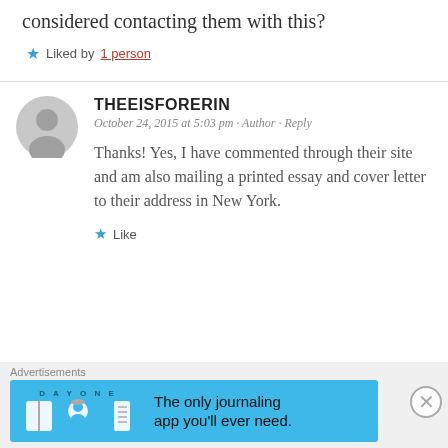considered contacting them with this?
Liked by 1 person
THEEISFORERIN
October 24, 2015 at 5:03 pm · Author · Reply
Thanks! Yes, I have commented through their site and am also mailing a printed essay and cover letter to their address in New York.
Like
Advertisements
[Figure (illustration): DAY ONE journaling app advertisement banner with blue background, icons of a notebook, person, and list, with text 'The only journaling app you'll ever need.']